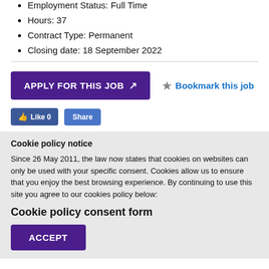Employment Status: Full Time
Hours: 37
Contract Type: Permanent
Closing date: 18 September 2022
APPLY FOR THIS JOB [external link icon]
★ Bookmark this job
👍 Like 0   Share
Cookie policy notice
Since 26 May 2011, the law now states that cookies on websites can only be used with your specific consent. Cookies allow us to ensure that you enjoy the best browsing experience. By continuing to use this site you agree to our cookies policy below:
Cookie policy consent form
ACCEPT